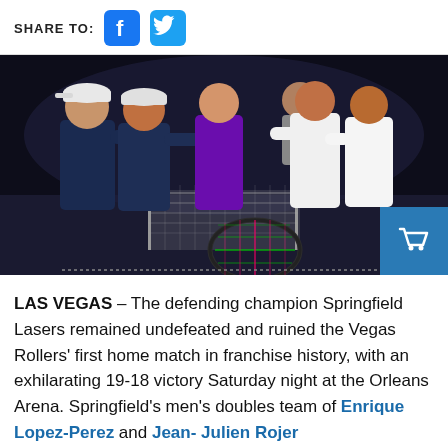SHARE TO: [Facebook icon] [Twitter icon]
[Figure (photo): Tennis players at the net shaking hands after a match. Players in dark navy blue uniforms on the left side, players in white uniforms on the right side, with a player in a purple jacket visible in the background. A tennis racket with green and pink strings is visible in the foreground near the net.]
LAS VEGAS – The defending champion Springfield Lasers remained undefeated and ruined the Vegas Rollers' first home match in franchise history, with an exhilarating 19-18 victory Saturday night at the Orleans Arena. Springfield's men's doubles team of Enrique Lopez-Perez and Jean-Julien Rojer